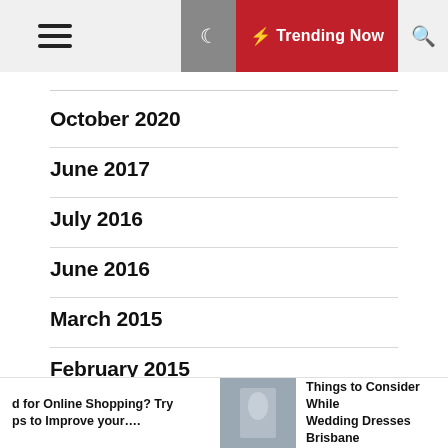☰ ☽ ⚡ Trending Now 🔍
October 2020
June 2017
July 2016
June 2016
March 2015
February 2015
d for Online Shopping? Try ps to Improve your.... | Things to Consider While Wedding Dresses Brisbane